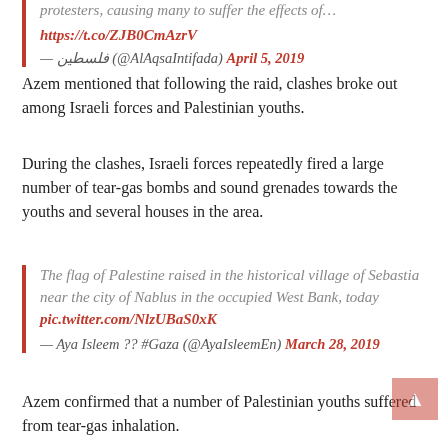protesters, causing many to suffer the effects of…
https://t.co/ZJB0CmAzrV
— فلسطين (@AlAqsaIntifada) April 5, 2019
Azem mentioned that following the raid, clashes broke out among Israeli forces and Palestinian youths.
During the clashes, Israeli forces repeatedly fired a large number of tear-gas bombs and sound grenades towards the youths and several houses in the area.
The flag of Palestine raised in the historical village of Sebastia near the city of Nablus in the occupied West Bank, today pic.twitter.com/NlzUBaS0xK
— Aya Isleem ?? #Gaza (@AyaIsleemEn) March 28, 2019
Azem confirmed that a number of Palestinian youths suffered from tear-gas inhalation.